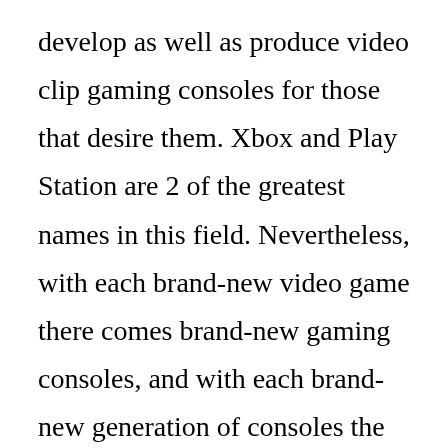develop as well as produce video clip gaming consoles for those that desire them. Xbox and Play Station are 2 of the greatest names in this field. Nevertheless, with each brand-new video game there comes brand-new gaming consoles, and with each brand-new generation of consoles the competitors ends up being higher. It is interesting to keep in mind that the Play Terminal, which is developed to be utilized by young adults, is in fact geared a lot more in the direction of older gamers. This is true of both the games for the